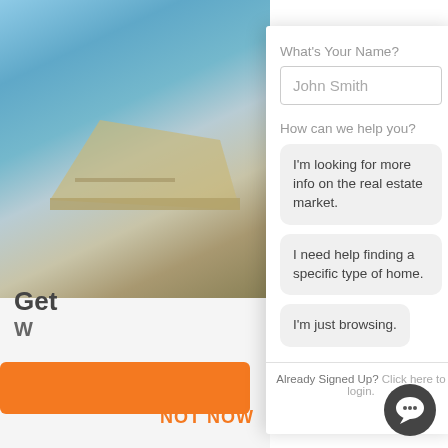[Figure (screenshot): Background photo of house roofline against blue sky, partially obscured by modal overlay]
What's Your Name?
John Smith
How can we help you?
I'm looking for more info on the real estate market.
I need help finding a specific type of home.
I'm just browsing.
Already Signed Up?  Click here to login.
Get
W
NOT NOW